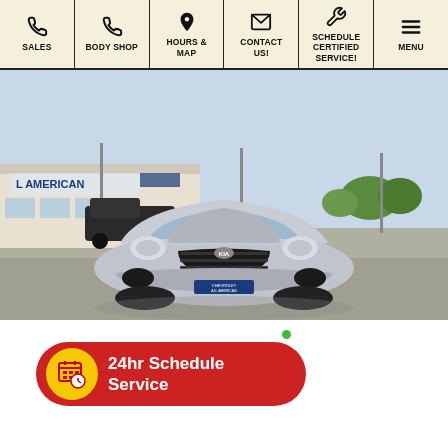SALES | BODY SHOP | HOURS & MAP | CONTACT US! | SCHEDULE CERTIFIED SERVICE! | MENU
[Figure (photo): Front view of a silver Kia Sportage SUV parked in a dealership lot. The dealership building with 'L AMERICAN' signage and Chevrolet logo visible in background. License plate frame reads 'CHEVROLET ALL AMERICAN'.]
24hr Schedule Service
Save
Compare
Price Watch